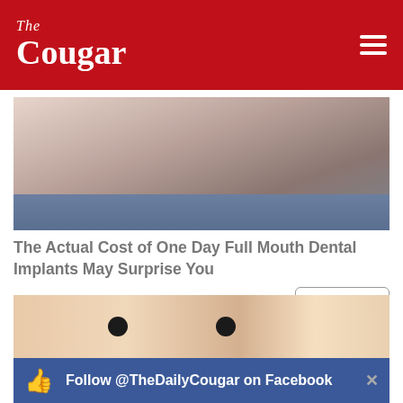The Cougar
[Figure (photo): Close-up photo of dental procedure or mouth area]
The Actual Cost of One Day Full Mouth Dental Implants May Surprise You
Dental Implants | Search Ads
[Figure (photo): Close-up photo of a person's face with skin treatment applied]
Follow @TheDailyCougar on Facebook